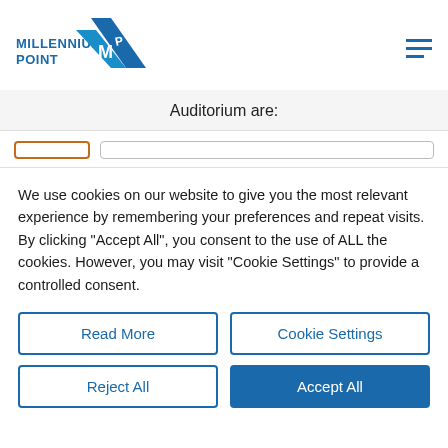[Figure (logo): Millennium Point logo with blue triangle/mountain shape and stylized MP letters]
Auditorium are:
We use cookies on our website to give you the most relevant experience by remembering your preferences and repeat visits. By clicking "Accept All", you consent to the use of ALL the cookies. However, you may visit "Cookie Settings" to provide a controlled consent.
Read More
Cookie Settings
Reject All
Accept All